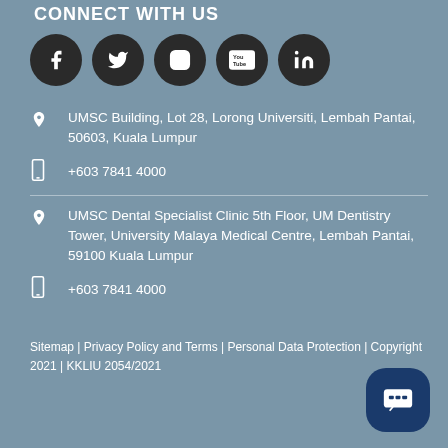CONNECT WITH US
[Figure (illustration): Five social media icons: Facebook, Twitter, Instagram, YouTube, LinkedIn — each in a dark circular button]
UMSC Building, Lot 28, Lorong Universiti, Lembah Pantai, 50603, Kuala Lumpur
+603 7841 4000
UMSC Dental Specialist Clinic 5th Floor, UM Dentistry Tower, University Malaya Medical Centre, Lembah Pantai, 59100 Kuala Lumpur
+603 7841 4000
Sitemap | Privacy Policy and Terms | Personal Data Protection | Copyright 2021 | KKLIU 2054/2021